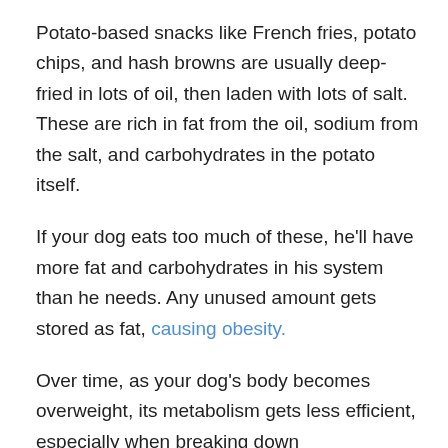Potato-based snacks like French fries, potato chips, and hash browns are usually deep-fried in lots of oil, then laden with lots of salt. These are rich in fat from the oil, sodium from the salt, and carbohydrates in the potato itself.
If your dog eats too much of these, he'll have more fat and carbohydrates in his system than he needs. Any unused amount gets stored as fat, causing obesity.
Over time, as your dog's body becomes overweight, its metabolism gets less efficient, especially when breaking down carbohydrates and dealing with glucose levels in the blood. He can then develop diabetes from frequent blood sugar spikes.
Simultaneously, the abundance of sodium in your dog's